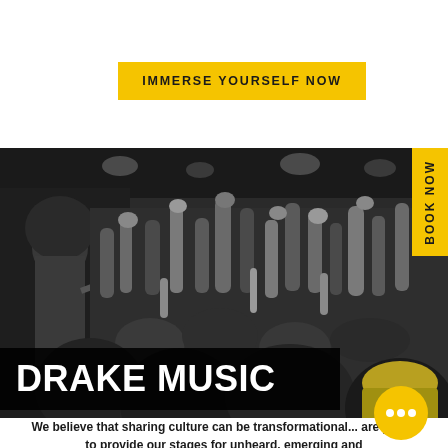IMMERSE YOURSELF NOW
[Figure (photo): Black and white concert photo of a performer on stage with crowd raising hands in a packed venue]
DRAKE MUSIC
We believe that sharing culture can be transformational... are proud to provide our stages for unheard, emerging and